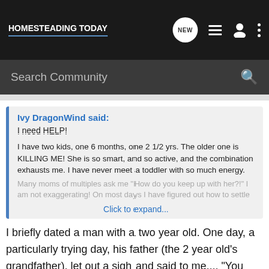HOMESTEADING TODAY
Search Community
Ivy DragonWind said:
I need HELP!

I have two kids, one 6 months, one 2 1/2 yrs. The older one is KILLING ME! She is so smart, and so active, and the combination exhausts me. I have never meet a toddler with so much energy. Many moms of multiples ask me "How do you keep up with her?!" I am not exaggerating! On most days I have figured out how to settle
Click to expand...
I briefly dated a man with a two year old. One day, a particularly trying day, his father (the 2 year old's grandfather), let out a sigh and said to me.... "You know, it's amazing how many people live to be three".
The short...all the other children from this area have...